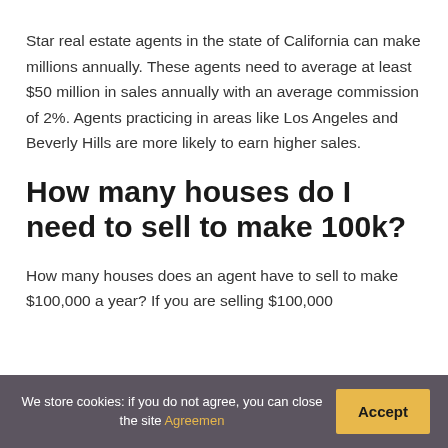Star real estate agents in the state of California can make millions annually. These agents need to average at least $50 million in sales annually with an average commission of 2%. Agents practicing in areas like Los Angeles and Beverly Hills are more likely to earn higher sales.
How many houses do I need to sell to make 100k?
How many houses does an agent have to sell to make $100,000 a year? If you are selling $100,000
We store cookies: if you do not agree, you can close the site Agreemen